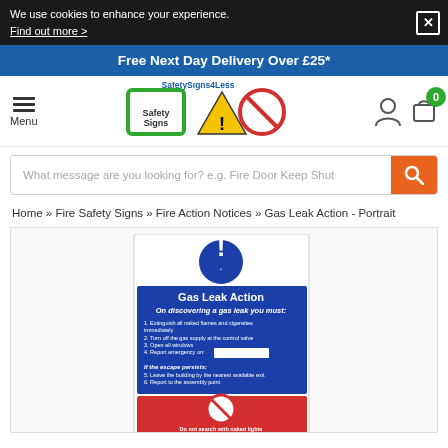We use cookies to enhance your experience. Find out more >
Free Next Day Delivery Over £25*
[Figure (logo): SafetySigns4Less logo with green square, yellow triangle, and red prohibition sign]
What message are you looking for? e.g. Fire Door Keep Shut
Home » Fire Safety Signs » Fire Action Notices » Gas Leak Action - Portrait
[Figure (illustration): Gas Leak Action safety sign showing blue information panel with numbered instructions and red prohibition panel below]